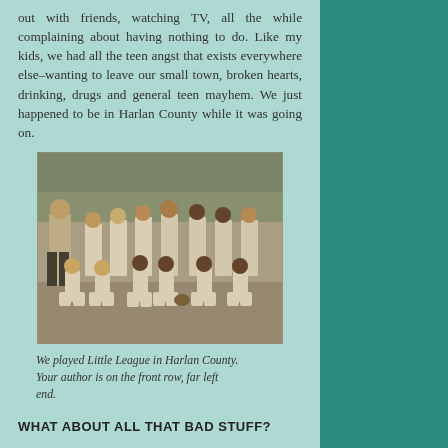out with friends, watching TV, all the while complaining about having nothing to do. Like my kids, we had all the teen angst that exists everywhere else–wanting to leave our small town, broken hearts, drinking, drugs and general teen mayhem. We just happened to be in Harlan County while it was going on.
[Figure (photo): Black and white group photo of a Little League baseball team in Harlan County. A coach stands on the left, with two rows of children in baseball uniforms. Front row is kneeling/crouching, back row is standing.]
We played Little League in Harlan County. Your author is on the front row, far left end.
WHAT ABOUT ALL THAT BAD STUFF?